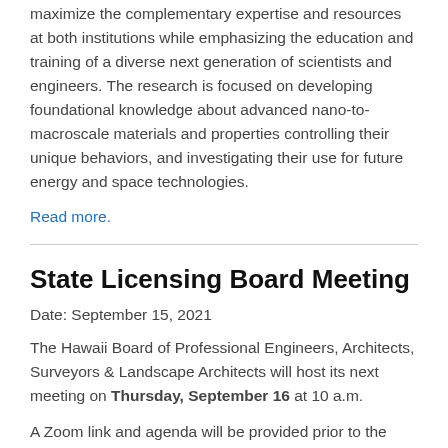maximize the complementary expertise and resources at both institutions while emphasizing the education and training of a diverse next generation of scientists and engineers. The research is focused on developing foundational knowledge about advanced nano-to-macroscale materials and properties controlling their unique behaviors, and investigating their use for future energy and space technologies.
Read more.
State Licensing Board Meeting
Date: September 15, 2021
The Hawaii Board of Professional Engineers, Architects, Surveyors & Landscape Architects will host its next meeting on Thursday, September 16 at 10 a.m.
A Zoom link and agenda will be provided prior to the